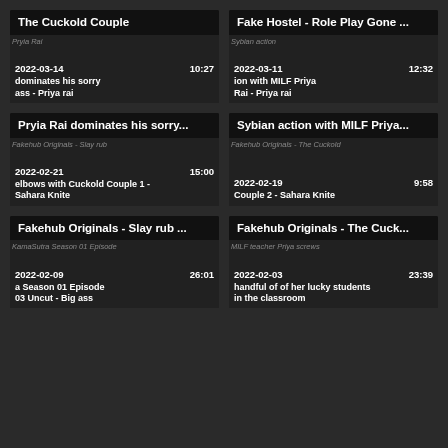[Figure (screenshot): Video thumbnail card: The Cuckold Couple - Pryia Rai dominates his sorry ass - Priya rai, 2022-03-14, 10:27]
[Figure (screenshot): Video thumbnail card: Fake Hostel - Role Play Gone ... - Sybian action with MILF Priya Rai - Priya rai, 2022-03-11, 12:32]
[Figure (screenshot): Video thumbnail card: Pryia Rai dominates his sorry... - Fakehub Originals - Slay rub elbows with Cuckold Couple 1 - Sahara Knite, 2022-02-21, 15:00]
[Figure (screenshot): Video thumbnail card: Sybian action with MILF Priya... - Fakehub Originals - The Cuckold Couple 2 - Sahara Knite, 2022-02-19, 9:58]
[Figure (screenshot): Video thumbnail card: Fakehub Originals - Slay rub ... - KamaSutra Season 01 Episode 03 Uncut - Big ass, 2022-02-09, 26:01]
[Figure (screenshot): Video thumbnail card: Fakehub Originals - The Cuck... - MILF teacher Priya screws a handful of of her lucky students in the classroom, 2022-02-03, 23:39]